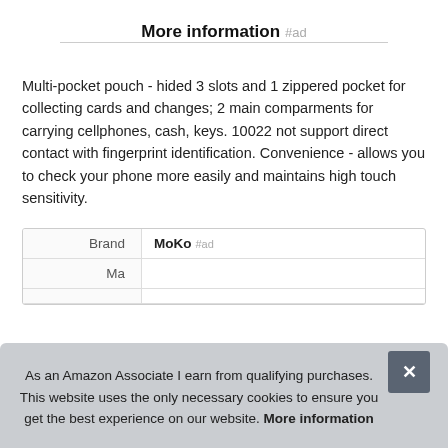More information #ad
Multi-pocket pouch - hided 3 slots and 1 zippered pocket for collecting cards and changes; 2 main comparments for carrying cellphones, cash, keys. 10022 not support direct contact with fingerprint identification. Convenience - allows you to check your phone more easily and maintains high touch sensitivity.
| Brand | MoKo #ad |
| --- | --- |
| Ma |  |
As an Amazon Associate I earn from qualifying purchases. This website uses the only necessary cookies to ensure you get the best experience on our website. More information